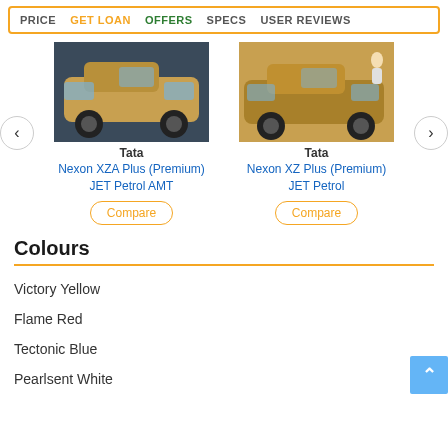PRICE  GET LOAN  OFFERS  SPECS  USER REVIEWS
[Figure (photo): Tata Nexon XZA Plus (Premium) JET Petrol AMT car image]
Tata
Nexon XZA Plus (Premium) JET Petrol AMT
[Figure (photo): Tata Nexon XZ Plus (Premium) JET Petrol car image]
Tata
Nexon XZ Plus (Premium) JET Petrol
Colours
Victory Yellow
Flame Red
Tectonic Blue
Pearlsent White